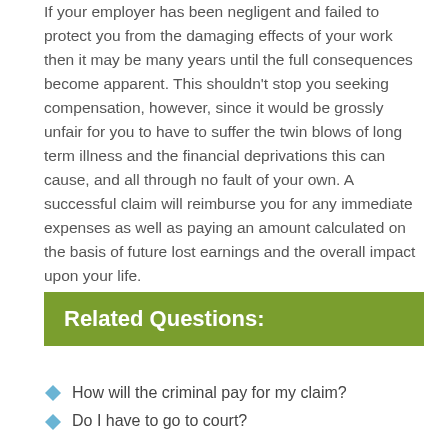If your employer has been negligent and failed to protect you from the damaging effects of your work then it may be many years until the full consequences become apparent. This shouldn't stop you seeking compensation, however, since it would be grossly unfair for you to have to suffer the twin blows of long term illness and the financial deprivations this can cause, and all through no fault of your own. A successful claim will reimburse you for any immediate expenses as well as paying an amount calculated on the basis of future lost earnings and the overall impact upon your life.
Related Questions:
How will the criminal pay for my claim?
Do I have to go to court?